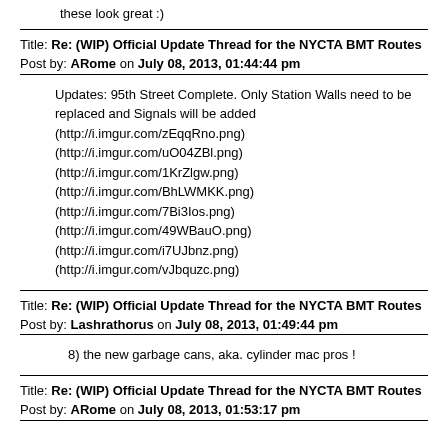these look great :)
Title: Re: (WIP) Official Update Thread for the NYCTA BMT Routes
Post by: ARome on July 08, 2013, 01:44:44 pm
Updates: 95th Street Complete. Only Station Walls need to be replaced and Signals will be added
(http://i.imgur.com/zEqqRno.png)
(http://i.imgur.com/uO04ZBl.png)
(http://i.imgur.com/1KrZlgw.png)
(http://i.imgur.com/BhLWMKK.png)
(http://i.imgur.com/7Bi3Ios.png)
(http://i.imgur.com/49WBauO.png)
(http://i.imgur.com/i7UJbnz.png)
(http://i.imgur.com/vJbquzc.png)
Title: Re: (WIP) Official Update Thread for the NYCTA BMT Routes
Post by: Lashrathorus on July 08, 2013, 01:49:44 pm
8) the new garbage cans, aka. cylinder mac pros !
Title: Re: (WIP) Official Update Thread for the NYCTA BMT Routes
Post by: ARome on July 08, 2013, 01:53:17 pm